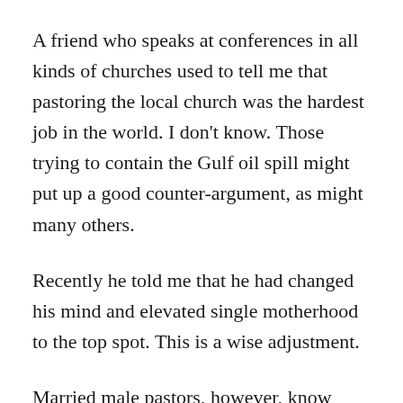A friend who speaks at conferences in all kinds of churches used to tell me that pastoring the local church was the hardest job in the world. I don't know. Those trying to contain the Gulf oil spill might put up a good counter-argument, as might many others.
Recently he told me that he had changed his mind and elevated single motherhood to the top spot. This is a wise adjustment.
Married male pastors, however, know they can't lay claim to second place. That 'honor' belongs to the often thankless role assumed by their wives. The 'job' of pastor's wife comes with no job description, no pay, and plenty of unwritten